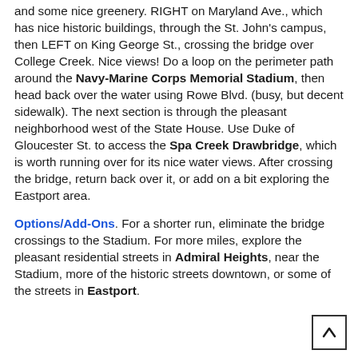and some nice greenery. RIGHT on Maryland Ave., which has nice historic buildings, through the St. John's campus, then LEFT on King George St., crossing the bridge over College Creek. Nice views! Do a loop on the perimeter path around the Navy-Marine Corps Memorial Stadium, then head back over the water using Rowe Blvd. (busy, but decent sidewalk). The next section is through the pleasant neighborhood west of the State House. Use Duke of Gloucester St. to access the Spa Creek Drawbridge, which is worth running over for its nice water views. After crossing the bridge, return back over it, or add on a bit exploring the Eastport area.
Options/Add-Ons. For a shorter run, eliminate the bridge crossings to the Stadium. For more miles, explore the pleasant residential streets in Admiral Heights, near the Stadium, more of the historic streets downtown, or some of the streets in Eastport.